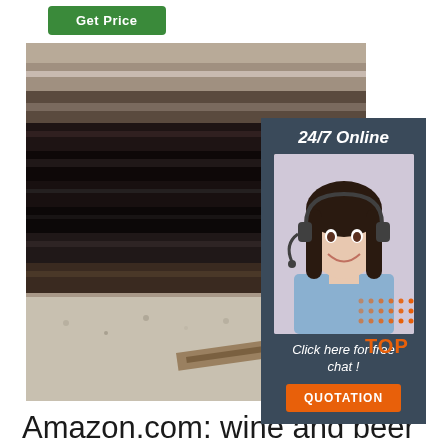[Figure (other): Green 'Get Price' button at top]
[Figure (photo): Stack of steel/metal plates photographed from above, with overlaid chat widget showing '24/7 Online' header, agent photo of woman with headset, 'Click here for free chat!' text, and orange 'QUOTATION' button. A 'TOP' badge visible in lower right corner.]
Amazon.com: wine and beer